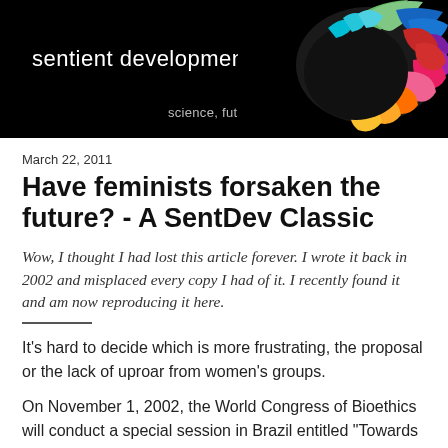[Figure (illustration): Website header banner for 'sentient developments' blog with black background, white text showing site name, subtitle 'science, futurism, life', and a colorful brain illustration on the right side.]
March 22, 2011
Have feminists forsaken the future? - A SentDev Classic
Wow, I thought I had lost this article forever. I wrote it back in 2002 and misplaced every copy I had of it. I recently found it and am now reproducing it here.
It's hard to decide which is more frustrating, the proposal or the lack of uproar from women's groups.
On November 1, 2002, the World Congress of Bioethics will conduct a special session in Brazil entitled "Towards an